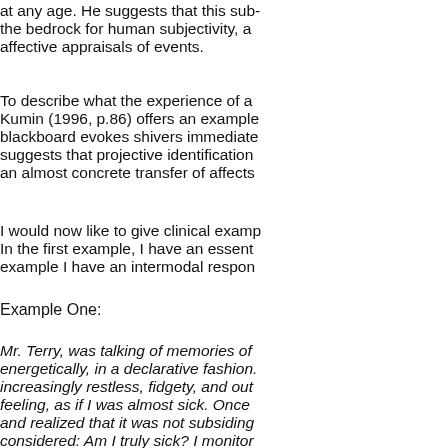at any age. He suggests that this sub- the bedrock for human subjectivity, a affective appraisals of events.
To describe what the experience of a Kumin (1996, p.86) offers an example blackboard evokes shivers immediate suggests that projective identification an almost concrete transfer of affects
I would now like to give clinical examp In the first example, I have an essent example I have an intermodal respon
Example One:
Mr. Terry, was talking of memories of energetically, in a declarative fashion. increasingly restless, fidgety, and out feeling, as if I was almost sick. Once and realized that it was not subsiding considered: Am I truly sick? I monitor realized that I was not in fact sick. . I reasonable night's sleep Am I distrac was. I figured then that I could be hav